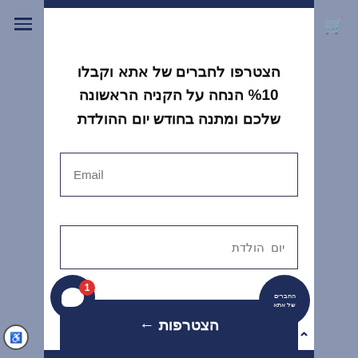הצטרפו לחברים של אתא וקבלו 10% הנחה על הקניה הראשונה שלכם ומתנה בחודש יום ההולדת
Email
יום הולדת
הצטרפות →